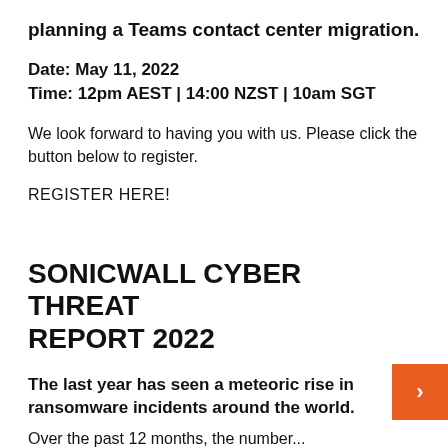planning a Teams contact center migration.
Date: May 11, 2022
Time: 12pm AEST | 14:00 NZST | 10am SGT
We look forward to having you with us. Please click the button below to register.
REGISTER HERE!
SONICWALL CYBER THREAT REPORT 2022
The last year has seen a meteoric rise in ransomware incidents around the world.
Over the past 12 months, the number…